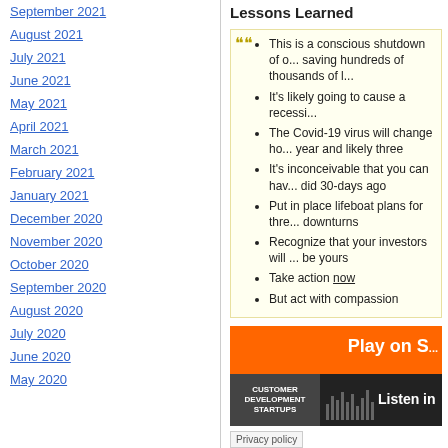September 2021
August 2021
July 2021
June 2021
May 2021
April 2021
March 2021
February 2021
January 2021
December 2020
November 2020
October 2020
September 2020
August 2020
July 2020
June 2020
May 2020
Lessons Learned
This is a conscious shutdown of o... saving hundreds of thousands of l...
It's likely going to cause a recessi...
The Covid-19 virus will change ho... year and likely three
It's inconceivable that you can hav... did 30-days ago
Put in place lifeboat plans for thre... downturns
Recognize that your investors will ... be yours
Take action now
But act with compassion
[Figure (screenshot): Media player thumbnail with orange bar saying 'Play on S...' and 'Listen in...' text with book cover]
Privacy policy
Share this:
Print | Email | Tweet